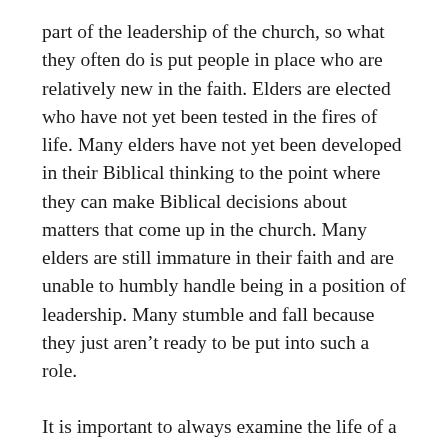part of the leadership of the church, so what they often do is put people in place who are relatively new in the faith. Elders are elected who have not yet been tested in the fires of life. Many elders have not yet been developed in their Biblical thinking to the point where they can make Biblical decisions about matters that come up in the church. Many elders are still immature in their faith and are unable to humbly handle being in a position of leadership. Many stumble and fall because they just aren't ready to be put into such a role.
It is important to always examine the life of a church leader. There must be evidence outside the church that elders are walking the walk. It